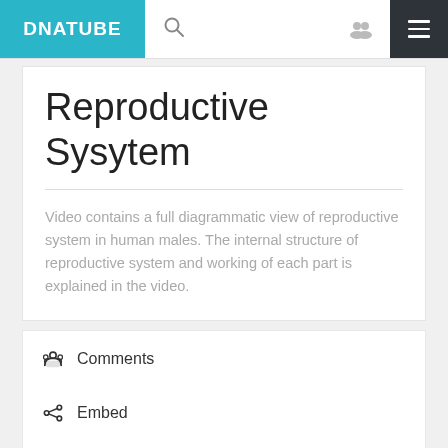DNATUBE
Reproductive Sysytem
Video contains a full diagrammatic view of reproductive system in human males. The internal structure of reproductive system and working of each part is explained in the video.
Comments
Embed
Download